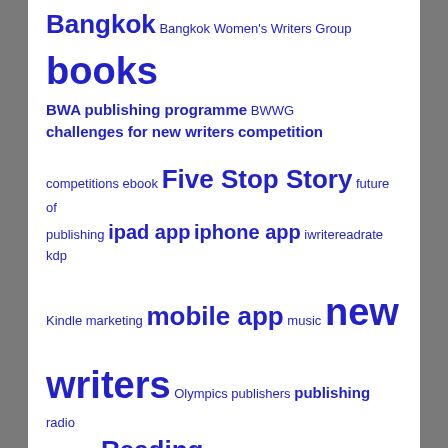[Figure (infographic): Tag cloud with blue text of varying sizes listing: Bangkok, Bangkok Women's Writers Group, books, BWA publishing programme, BWWG, challenges for new writers, competition, competitions, ebook, Five Stop Story, future of publishing, ipad app, iphone app, iwritereadrate, kdp, Kindle, marketing, mobile app, music, new writers, Olympics, publishers, publishing, radio interview, Reading, readings, reviews, self-publishing, short stories, soho theatre, thailand, theatre, traditional publishers, Twenty-seven Wordplay: Bangkok's first literary festival, writers workshop, Writing]
NEWSLETTER SIGN UP FORM
Sign up here to get the latest news from B. J. Heald